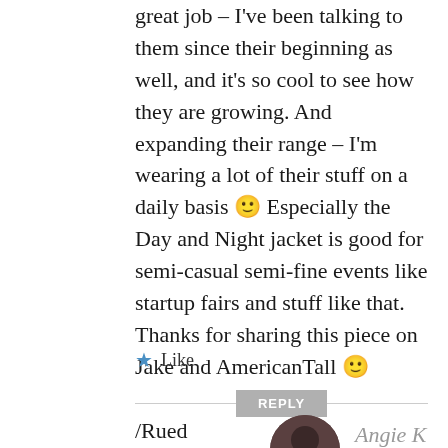great job – I've been talking to them since their beginning as well, and it's so cool to see how they are growing. And expanding their range – I'm wearing a lot of their stuff on a daily basis 🙂 Especially the Day and Night jacket is good for semi-casual semi-fine events like startup fairs and stuff like that. Thanks for sharing this piece on Jake and AmericanTall 🙂
/Rued
★ Like
REPLY
Angie K